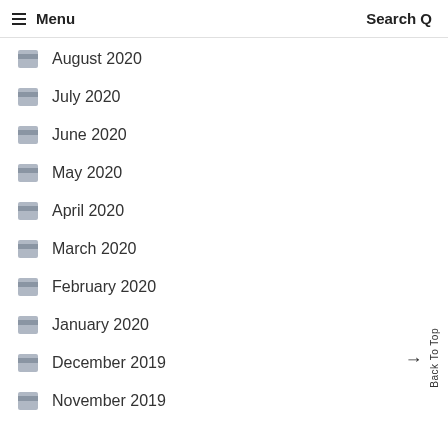≡ Menu   Search Q
August 2020
July 2020
June 2020
May 2020
April 2020
March 2020
February 2020
January 2020
December 2019
November 2019